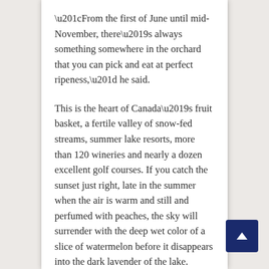“From the first of June until mid-November, there’s always something somewhere in the orchard that you can pick and eat at perfect ripeness,” he said.
This is the heart of Canada’s fruit basket, a fertile valley of snow-fed streams, summer lake resorts, more than 120 wineries and nearly a dozen excellent golf courses. If you catch the sunset just right, late in the summer when the air is warm and still and perfumed with peaches, the sky will surrender with the deep wet color of a slice of watermelon before it disappears into the dark lavender of the lake.
Better than a trip to Napa, you some…